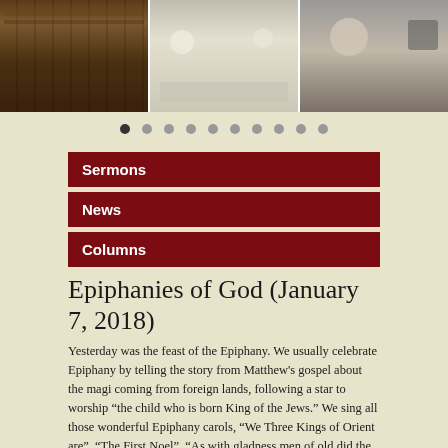[Figure (photo): Three photos in a horizontal strip: church interior with pews, people dining at a table, and a family with a young child]
[Figure (other): Dot navigation indicator with 10 dots, first dot active]
Sermons
News
Columns
Epiphanies of God (January 7, 2018)
Yesterday was the feast of the Epiphany. We usually celebrate Epiphany by telling the story from Matthew’s gospel about the magi coming from foreign lands, following a star to worship “the child who is born King of the Jews.” We sing all those wonderful Epiphany carols, “We Three Kings of Orient are”, “The First Noel”, “As with gladness men of old did the guiding star behold” and so on.